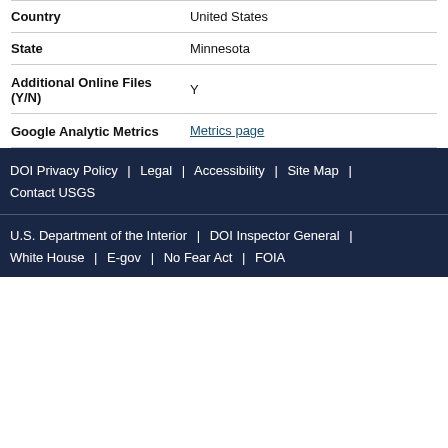| Field | Value |
| --- | --- |
| Country | United States |
| State | Minnesota |
| Additional Online Files (Y/N) | Y |
| Google Analytic Metrics | Metrics page |
DOI Privacy Policy | Legal | Accessibility | Site Map | Contact USGS
U.S. Department of the Interior | DOI Inspector General | White House | E-gov | No Fear Act | FOIA